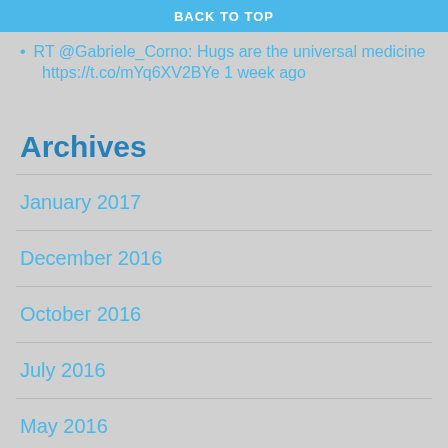BACK TO TOP
RT @Gabriele_Corno: Hugs are the universal medicine https://t.co/mYq6XV2BYe 1 week ago
Archives
January 2017
December 2016
October 2016
July 2016
May 2016
April 2016